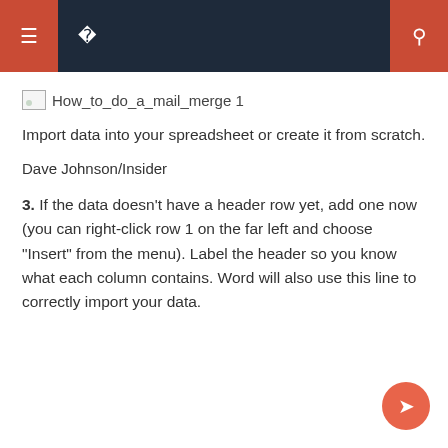Navigation bar with menu icons and search
[Figure (screenshot): Broken image placeholder labeled How_to_do_a_mail_merge 1]
Import data into your spreadsheet or create it from scratch.
Dave Johnson/Insider
3. If the data doesn't have a header row yet, add one now (you can right-click row 1 on the far left and choose "Insert" from the menu). Label the header so you know what each column contains. Word will also use this line to correctly import your data.